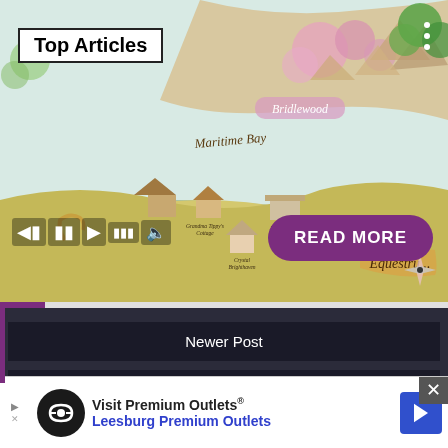[Figure (map): Illustrated fantasy map of Equestria showing locations: Maritime Bay, Grandma Tippy's Cottage, Novo Melody Salon, Crystal Brighthaven, Bridlewood, with pink trees, mountains, and compass rose]
Top Articles
READ MORE
Newer Post
Older Post
Home
[Figure (screenshot): Advertisement banner: Visit Premium Outlets® Leesburg Premium Outlets with logo and navigation arrow icon]